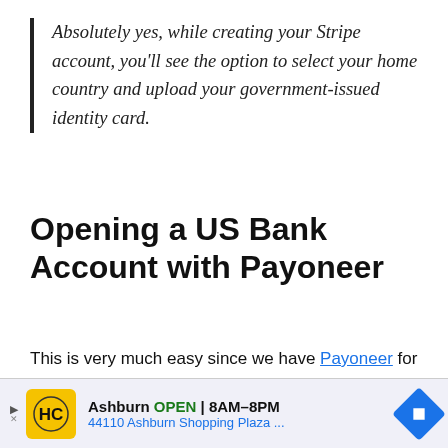Absolutely yes, while creating your Stripe account, you'll see the option to select your home country and upload your government-issued identity card.
Opening a US Bank Account with Payoneer
This is very much easy since we have Payoneer for that. All you need to do is register with Payoneer.com, connect with Global payment service and you'll be able to get your virtual US bank account.
[Figure (other): Advertisement banner for a local business in Ashburn: HC logo on yellow background, text 'Ashburn OPEN 8AM-8PM, 44110 Ashburn Shopping Plaza ...' with a blue navigation arrow icon.]